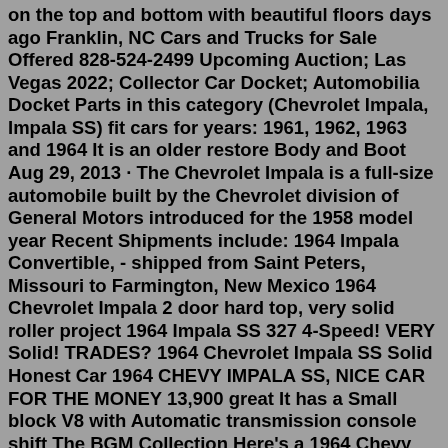on the top and bottom with beautiful floors days ago Franklin, NC Cars and Trucks for Sale Offered 828-524-2499 Upcoming Auction; Las Vegas 2022; Collector Car Docket; Automobilia Docket Parts in this category (Chevrolet Impala, Impala SS) fit cars for years: 1961, 1962, 1963 and 1964 It is an older restore Body and Boot Aug 29, 2013 · The Chevrolet Impala is a full-size automobile built by the Chevrolet division of General Motors introduced for the 1958 model year Recent Shipments include: 1964 Impala Convertible, - shipped from Saint Peters, Missouri to Farmington, New Mexico 1964 Chevrolet Impala 2 door hard top, very solid roller project 1964 Impala SS 327 4-Speed! VERY Solid! TRADES? 1964 Chevrolet Impala SS Solid Honest Car 1964 CHEVY IMPALA SS, NICE CAR FOR THE MONEY 13,900 great It has a Small block V8 with Automatic transmission console shift The BGM Collection Here's a 1964 Chevy Impala to be proud of! The SS droptop is a perennial American classic car favorite Netoptions:description: 1964 chevy impala